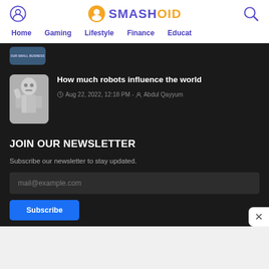Smashoid - Home | Gaming | Lifestyle | Finance | Educat
[Figure (screenshot): Partially visible article thumbnail with dark background and text 'OUR SMALL BUSINESS']
[Figure (photo): Robot humanoid figure raising hand, metallic silver body]
How much robots influence the world
Aug 22, 2022, 12:18 PM - Abdul Qayyum
JOIN OUR NEWSLETTER
Subscribe our newsletter to stay updated.
mail@example.com
Subscribe